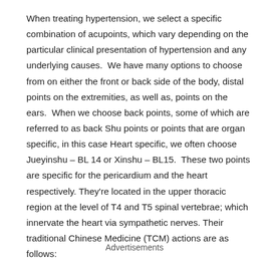When treating hypertension, we select a specific combination of acupoints, which vary depending on the particular clinical presentation of hypertension and any underlying causes.  We have many options to choose from on either the front or back side of the body, distal points on the extremities, as well as, points on the ears.  When we choose back points, some of which are referred to as back Shu points or points that are organ specific, in this case Heart specific, we often choose Jueyinshu – BL 14 or Xinshu – BL15.  These two points are specific for the pericardium and the heart respectively. They're located in the upper thoracic region at the level of T4 and T5 spinal vertebrae; which innervate the heart via sympathetic nerves. Their traditional Chinese Medicine (TCM) actions are as follows:
Advertisements